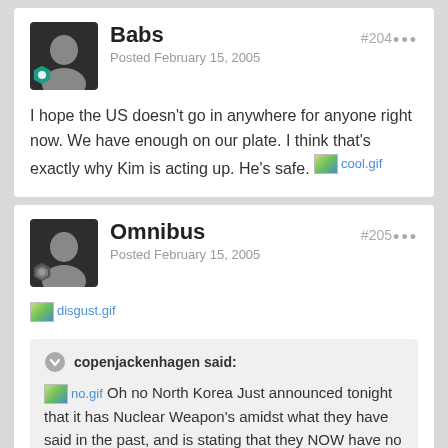Babs — Posted February 15, 2005 — #204
I hope the US doesn't go in anywhere for anyone right now. We have enough on our plate. I think that's exactly why Kim is acting up. He's safe. [cool.gif]
Omnibus — Posted February 15, 2005 — #205
[disgust.gif]
copenjackenhagen said: [no.gif] Oh no North Korea Just announced tonight that it has Nuclear Weapon's amidst what they have said in the past, and is stating that they NOW have no plan's to disemband there